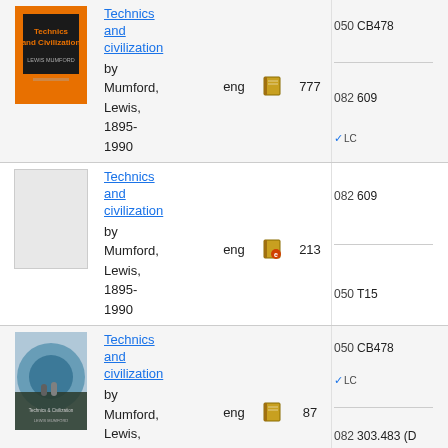Technics and civilization by Mumford, Lewis, 1895-1990 | eng | 777 | 050 CB478 | 082 609
Technics and civilization by Mumford, Lewis, 1895-1990 | eng | 213 | 082 609 | 050 T15
Technics and civilization by Mumford, Lewis, 1895-1990 | eng | 87 | 050 CB478 | 082 303.483 (D 22)
Technics and civilization | 050 CB478